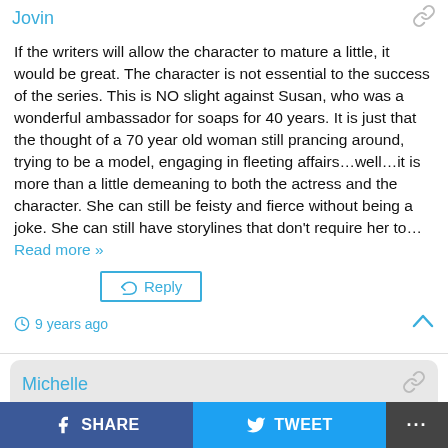Jovin
If the writers will allow the character to mature a little, it would be great. The character is not essential to the success of the series. This is NO slight against Susan, who was a wonderful ambassador for soaps for 40 years. It is just that the thought of a 70 year old woman still prancing around, trying to be a model, engaging in fleeting affairs…well…it is more than a little demeaning to both the actress and the character. She can still be feisty and fierce without being a joke. She can still have storylines that don't require her to… Read more »
Reply
9 years ago
Michelle
Susan is 66 and she is a knockout. Erica lives a full, exciting